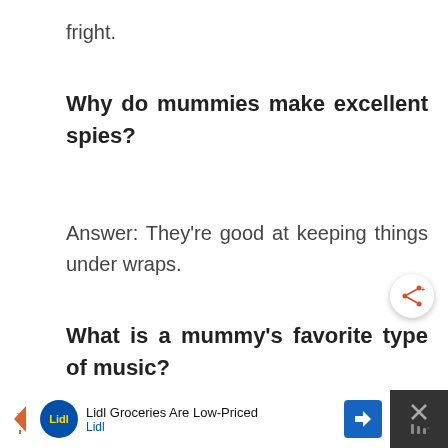fright.
Why do mummies make excellent spies?
Answer: They're good at keeping things under wraps.
What is a mummy's favorite type of music?
[Figure (other): Share button (circular white button with orange share icon and plus symbol)]
[Figure (other): Lidl advertisement banner at bottom of page with Lidl logo, text 'Lidl Groceries Are Low-Priced', navigation arrow icon, and close button]